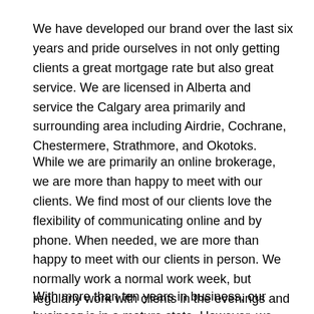We have developed our brand over the last six years and pride ourselves in not only getting clients a great mortgage rate but also great service. We are licensed in Alberta and service the Calgary area primarily and surrounding area including Airdrie, Cochrane, Chestermere, Strathmore, and Okotoks.
While we are primarily an online brokerage, we are more than happy to meet with our clients. We find most of our clients love the flexibility of communicating online and by phone. When needed, we are more than happy to meet with our clients in person. We normally work a normal work week, but regularly work with clients in the evenings and weekends.
With more than ten years in business, our business is in a mature state. However, we are growth driven and